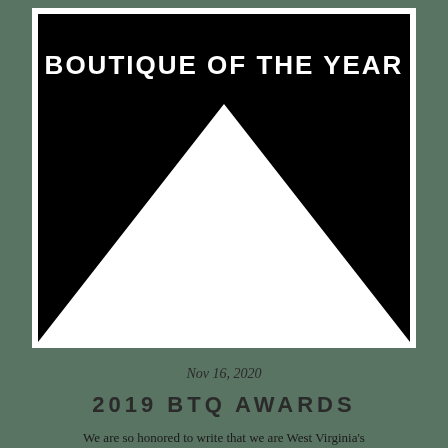[Figure (illustration): Black square graphic with white triangle pointing upward from bottom, text 'BOUTIQUE OF THE YEAR' in white bold letters at top center, framed in white border]
Nov 16, 2020
2019 BTQ AWARDS
We are so honored to write that we are West Virginia's